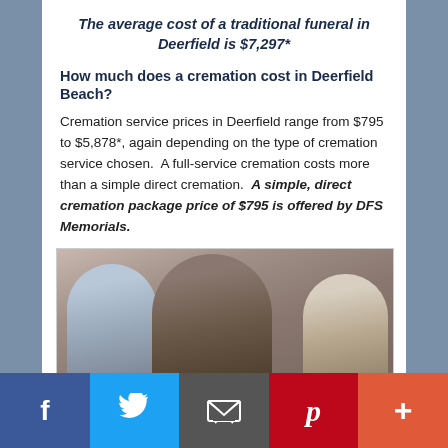The average cost of a traditional funeral in Deerfield is $7,297*
How much does a cremation cost in Deerfield Beach?
Cremation service prices in Deerfield range from $795 to $5,878*, again depending on the type of cremation service chosen. A full-service cremation costs more than a simple direct cremation. A simple, direct cremation package price of $795 is offered by DFS Memorials.
[Figure (photo): Three people (two older adults and a younger woman) sitting together looking at documents, likely discussing funeral or financial planning arrangements.]
Social sharing bar with Facebook, Twitter, Email, Pinterest, and More (+) buttons